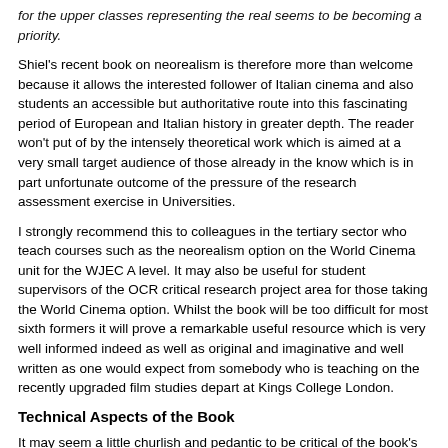for the upper classes representing the real seems to be becoming a priority.
Shiel's recent book on neorealism is therefore more than welcome because it allows the interested follower of Italian cinema and also students an accessible but authoritative route into this fascinating period of European and Italian history in greater depth. The reader won't put of by the intensely theoretical work which is aimed at a very small target audience of those already in the know which is in part unfortunate outcome of the pressure of the research assessment exercise in Universities.
I strongly recommend this to colleagues in the tertiary sector who teach courses such as the neorealism option on the World Cinema unit for the WJEC A level. It may also be useful for student supervisors of the OCR critical research project area for those taking the World Cinema option. Whilst the book will be too difficult for most sixth formers it will prove a remarkable useful resource which is very well informed indeed as well as original and imaginative and well written as one would expect from somebody who is teaching on the recently upgraded film studies depart at Kings College London.
Technical Aspects of the Book
It may seem a little churlish and pedantic to be critical of the book's organisation but it would have been useful to have had pages references in the index to mentions of specific films, perhaps under the name of the director as Bondanella does in his large general history of Italian cinema. It is very useful to be able to navigate straight to comment upon a particular film without having to trawl through the book. As none of the other books in this series do this perhaps Wallflower will think about doing this should the titles come out in